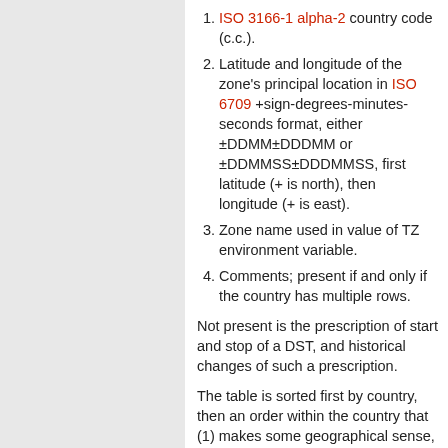ISO 3166-1 alpha-2 country code (c.c.).
Latitude and longitude of the zone's principal location in ISO 6709 +sign-degrees-minutes-seconds format, either ±DDMM±DDDMM or ±DDMMSS±DDDMMSS, first latitude (+ is north), then longitude (+ is east).
Zone name used in value of TZ environment variable.
Comments; present if and only if the country has multiple rows.
Not present is the prescription of start and stop of a DST, and historical changes of such a prescription.
The table is sorted first by country, then an order within the country that (1) makes some geographical sense, and (2) puts the most populous zones first.